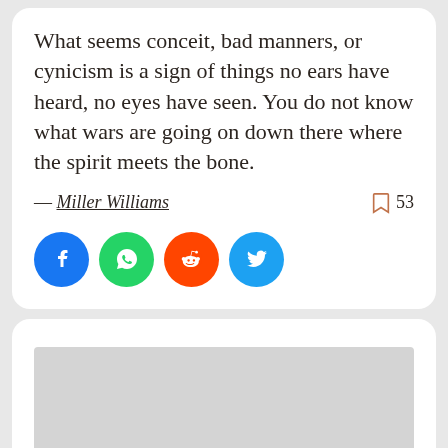What seems conceit, bad manners, or cynicism is a sign of things no ears have heard, no eyes have seen. You do not know what wars are going on down there where the spirit meets the bone.
— Miller Williams
[Figure (other): Bookmark icon with count 53]
[Figure (other): Social share buttons: Facebook, WhatsApp, Reddit, Twitter]
[Figure (other): Advertisement placeholder (gray rectangle)]